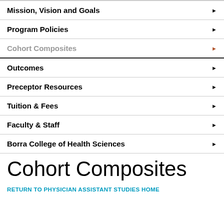Mission, Vision and Goals
Program Policies
Cohort Composites
Outcomes
Preceptor Resources
Tuition & Fees
Faculty & Staff
Borra College of Health Sciences
Cohort Composites
RETURN TO PHYSICIAN ASSISTANT STUDIES HOME